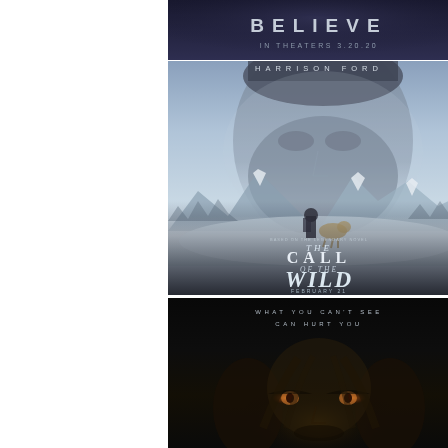[Figure (photo): Top portion of a movie poster with dark blue/navy background. Text reads 'BELIEVE' in large spaced letters and 'IN THEATERS 3.20.20' below in smaller text.]
[Figure (photo): Movie poster for 'The Call of the Wild' featuring Harrison Ford. Shows an older bearded man's face large in the upper portion, with a snowy mountain landscape scene below showing a man and dog walking. Text includes 'HARRISON FORD' at top, 'THE CALL OF THE WILD' as main title, and 'FEBRUARY 21' as release date.]
[Figure (photo): Dark horror movie poster with text 'WHAT YOU CAN'T SEE CAN HURT YOU' at top. Shows a woman's face barely visible in near-total darkness with glowing eyes partially visible in lower portion. Very dark atmospheric poster.]